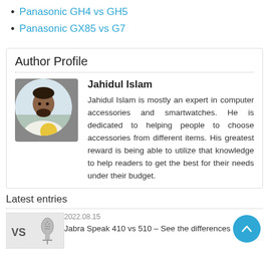Panasonic GH4 vs GH5
Panasonic GX85 vs G7
Author Profile
[Figure (photo): Circular profile photo of Jahidul Islam, a young man with a beard wearing a white and yellow shirt]
Jahidul Islam
Jahidul Islam is mostly an expert in computer accessories and smartwatches. He is dedicated to helping people to choose accessories from different items. His greatest reward is being able to utilize that knowledge to help readers to get the best for their needs under their budget.
Latest entries
[Figure (photo): Thumbnail image showing VS text and a microphone, for Jabra Speak 410 vs 510 article]
2022.08.15
Jabra Speak 410 vs 510 – See the differences